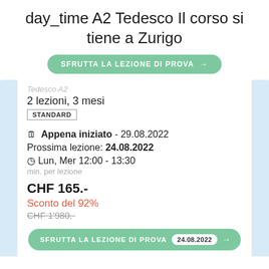day_time A2 Tedesco Il corso si tiene a Zurigo
SFRUTTA LA LEZIONE DI PROVA →
2 lezioni, 3 mesi
STANDARD
🗓 Appena iniziato - 29.08.2022
Prossima lezione: 24.08.2022
⏱ Lun, Mer 12:00 - 13:30
min. per lezione
CHF 165.-
Sconto del 92%
CHF 1'980.-
SFRUTTA LA LEZIONE DI PROVA  24.08.2022 →